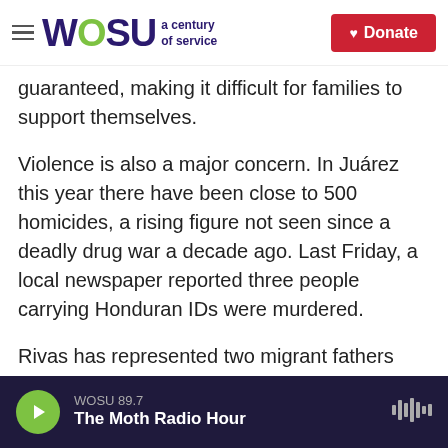WOSU a century of service | Donate
guaranteed, making it difficult for families to support themselves.
Violence is also a major concern. In Juárez this year there have been close to 500 homicides, a rising figure not seen since a deadly drug war a decade ago. Last Friday, a local newspaper reported three people carrying Honduran IDs were murdered.
Rivas has represented two migrant fathers who testified in court about being kidnapped and robbed in Juárez.
WOSU 89.7 The Moth Radio Hour